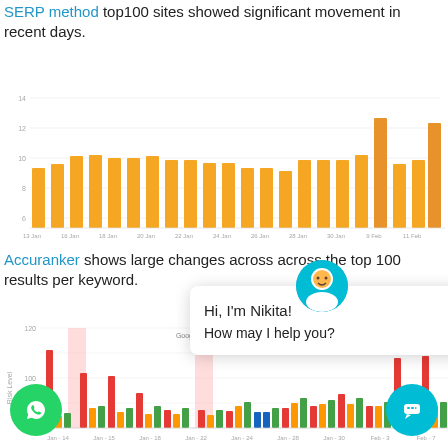SERP method top100 sites showed significant movement in recent days.
[Figure (bar-chart): Orange bar chart showing daily values from 13 Jan to 11 Feb, with two taller bars near 11 Feb]
Accuranker shows large changes across across the top 100 results per keyword.
[Figure (bar-chart): Multi-color bar chart (red, orange, green, blue) with pink highlighted columns around Jan 14 and Jan 22, showing flux level over time]
[Figure (other): Chat overlay widget showing avatar of Nikita with message: Hi, I'm Nikita! How may I help you?, with close button. Also WhatsApp and chat bubble buttons at bottom corners.]